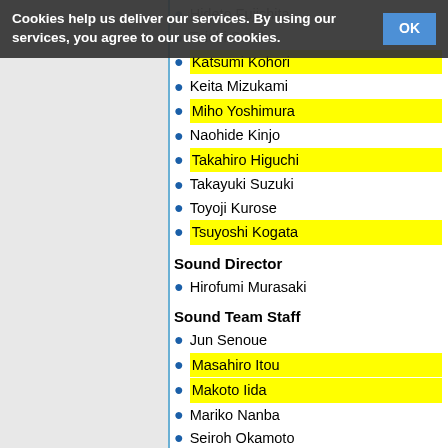Cookies help us deliver our services. By using our services, you agree to our use of cookies. OK
Hideto Fujishita
Toichi Sutoh
Katsumi Kohori
Keita Mizukami
Miho Yoshimura
Naohide Kinjo
Takahiro Higuchi
Takayuki Suzuki
Toyoji Kurose
Tsuyoshi Kogata
Sound Director
Hirofumi Murasaki
Sound Team Staff
Jun Senoue
Masahiro Itou
Makoto Iida
Mariko Nanba
Seiroh Okamoto